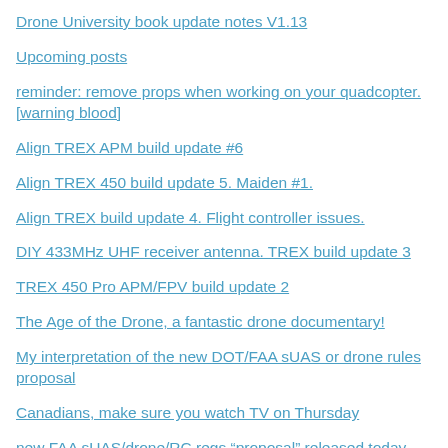Drone University book update notes V1.13
Upcoming posts
reminder: remove props when working on your quadcopter. [warning blood]
Align TREX APM build update #6
Align TREX 450 build update 5. Maiden #1.
Align TREX build update 4. Flight controller issues.
DIY 433MHz UHF receiver antenna. TREX build update 3
TREX 450 Pro APM/FPV build update 2
The Age of the Drone, a fantastic drone documentary!
My interpretation of the new DOT/FAA sUAS or drone rules proposal
Canadians, make sure you watch TV on Thursday
new FAA sUAS/drone/RC regs “proposal” released today
DJI Phantom 2 V2 with Flyright FPV add-on